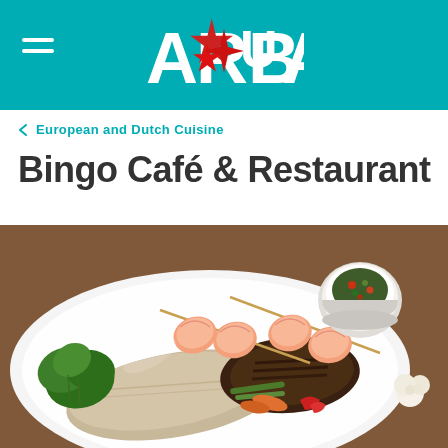ARUBA — Bingo Café & Restaurant
< European and Dutch Cuisine
Bingo Café & Restaurant
[Figure (photo): A restaurant plate featuring grilled fish fillet, shrimp skewers, a grilled beef cut, colorful vegetables including green beans, carrots, and peppers, garnished with fresh parsley, and a small ramekin of salsa or relish on the side.]